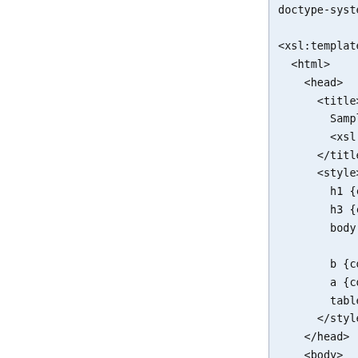[Figure (screenshot): Code editor screenshot showing XSL template XML/HTML code, right half of a two-column layout. Left column is white/blank. Right column shows light blue background with monospace code beginning with 'doctype-system', then xsl:template, html, head, title, style, body elements and nested content, partially clipped on the right.]